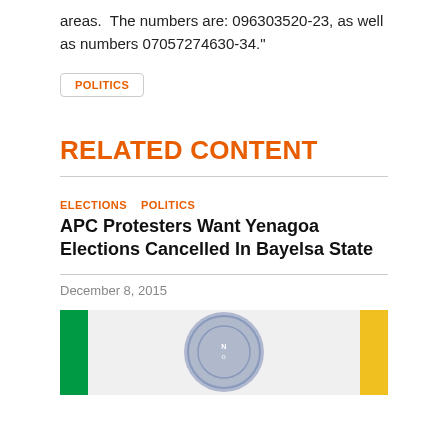areas.  The numbers are: 096303520-23, as well as numbers 07057274630-34."
POLITICS
RELATED CONTENT
ELECTIONS   POLITICS
APC Protesters Want Yenagoa Elections Cancelled In Bayelsa State
December 8, 2015
[Figure (photo): Photo showing Nigerian flags (green and yellow) with a government seal or emblem in the center on a light background.]